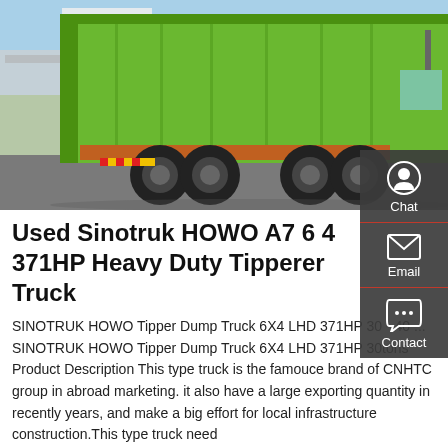[Figure (photo): Photo of a green Sinotruk HOWO dump/tipper truck (6x4) photographed from the rear-left angle in a commercial yard. The truck has a large green dump body raised partially, with heavy-duty tires visible. Chinese signage and buildings visible in background.]
Used Sinotruk HOWO A7 6 4 371HP Heavy Duty Tipperer Truck
SINOTRUK HOWO Tipper Dump Truck 6X4 LHD 371HP 30 - 40 ... SINOTRUK HOWO Tipper Dump Truck 6X4 LHD 371HP 30tons Product Description This type truck is the famouce brand of CNHTC group in abroad marketing. it also have a large exporting quantity in recently years, and make a big effort for local infrastructure construction.This type truck need